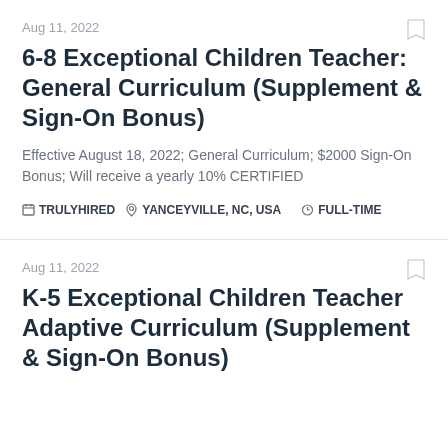Aug 11, 2022
6-8 Exceptional Children Teacher: General Curriculum (Supplement & Sign-On Bonus)
Effective August 18, 2022; General Curriculum; $2000 Sign-On Bonus; Will receive a yearly 10% CERTIFIED
TRULYHIRED   YANCEYVILLE, NC, USA   FULL-TIME
Aug 11, 2022
K-5 Exceptional Children Teacher Adaptive Curriculum (Supplement & Sign-On Bonus)